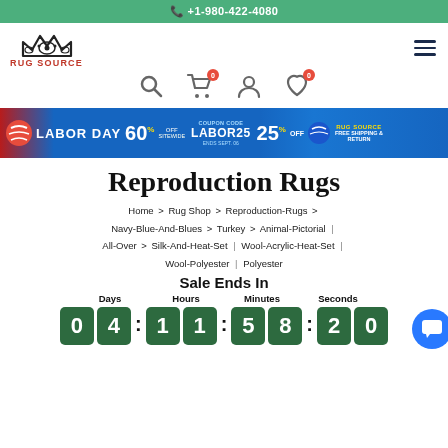+1-980-422-4080
[Figure (logo): Rug Source logo with crown and red text]
[Figure (infographic): Labor Day sale banner: 60% off sitewide, coupon code LABOR25 for 25% off, free shipping & return]
Reproduction Rugs
Home > Rug Shop > Reproduction-Rugs > Navy-Blue-And-Blues > Turkey > Animal-Pictorial | All-Over > Silk-And-Heat-Set | Wool-Acrylic-Heat-Set | Wool-Polyester | Polyester
Sale Ends In
Days: 04  Hours: 11  Minutes: 58  Seconds: 20